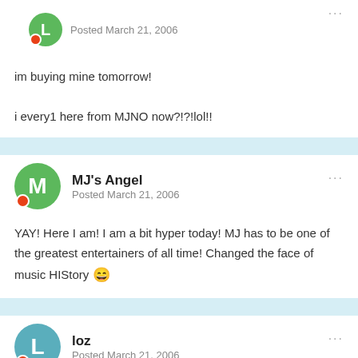Posted March 21, 2006
im buying mine tomorrow!

i every1 here from MJNO now?!?!lol!!
MJ's Angel
Posted March 21, 2006
YAY! Here I am! I am a bit hyper today! MJ has to be one of the greatest entertainers of all time! Changed the face of music HIStory 😄
loz
Posted March 21, 2006
I love him more!!! 😛

Still can't to...